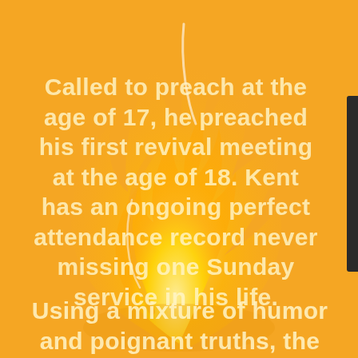[Figure (illustration): Orange background with a stylized golden flame illustration in the center/background of the page]
Called to preach at the age of 17, he preached his first revival meeting at the age of 18. Kent has an ongoing perfect attendance record never missing one Sunday service in his life.
Using a mixture of humor and poignant truths, the